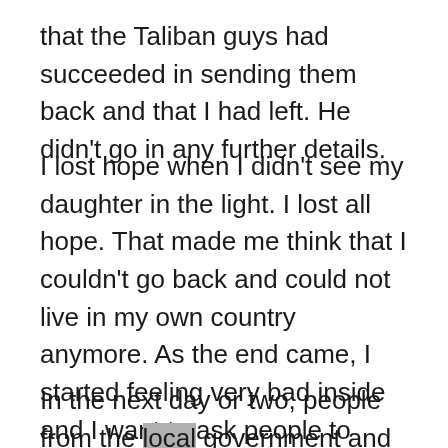that the Taliban guys had succeeded in sending them back and that I had left. He didn't go in any further details.
I lost hope when I didn't see my daughter in the light. I lost all hope. That made me think that I couldn't go back and could not live in my own country anymore. As the end came, I started feeling very bad inside and I want to ask people to rescue me and take me out of the country and give me safe place.
In the next day or two, people from the local government and the district assembly came